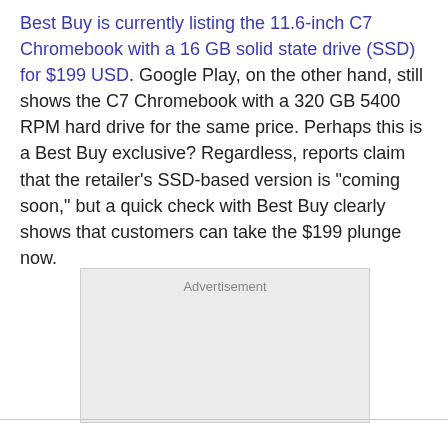Best Buy is currently listing the 11.6-inch C7 Chromebook with a 16 GB solid state drive (SSD) for $199 USD. Google Play, on the other hand, still shows the C7 Chromebook with a 320 GB 5400 RPM hard drive for the same price. Perhaps this is a Best Buy exclusive? Regardless, reports claim that the retailer's SSD-based version is "coming soon," but a quick check with Best Buy clearly shows that customers can take the $199 plunge now.
[Figure (other): Advertisement placeholder box with light gray background and 'Advertisement' label text centered at top]